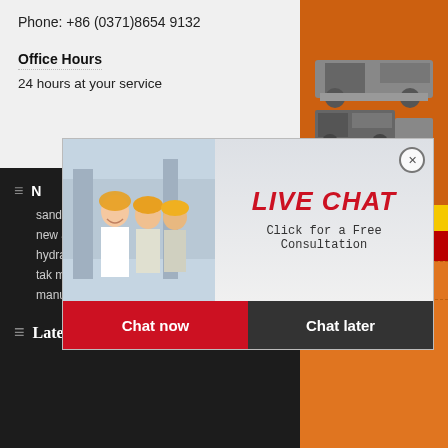Phone: +86 (0371)8654 9132
Office Hours
24 hours at your service
sand
new a
hydrated lime powder making machine suraba
tak machinery mill stores moradabad
manufacturer of ball millfactory of limstone cru
[Figure (screenshot): Live chat popup with workers wearing yellow hard hats. Shows 'LIVE CHAT' in red italic text, 'Click for a Free Consultation' subtitle, 'Chat now' red button and 'Chat later' dark button.]
[Figure (infographic): Orange right sidebar showing mining/crushing machines, 'Enjoy 3% discount' yellow bar, 'Click to Chat' red bar, 'Enquiry' section, and 'limingjlmofen@sina.com' email.]
Latest Product